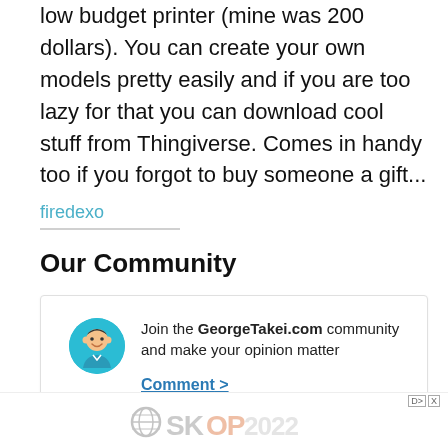low budget printer (mine was 200 dollars). You can create your own models pretty easily and if you are too lazy for that you can download cool stuff from Thingiverse. Comes in handy too if you forgot to buy someone a gift...
firedexo
Our Community
Join the GeorgeTakei.com community and make your opinion matter Comment >
[Figure (illustration): Circular avatar icon of a cartoon man with teal/cyan background]